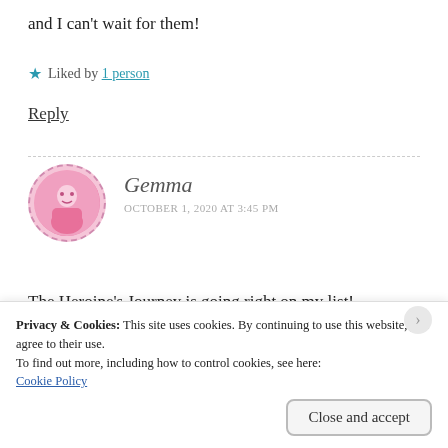and I can't wait for them!
★ Liked by 1 person
Reply
Gemma
OCTOBER 1, 2020 AT 3:45 PM
The Heroine's Journey is going right on my list! Thanks for the tip 🙂
Privacy & Cookies: This site uses cookies. By continuing to use this website, you agree to their use.
To find out more, including how to control cookies, see here:
Cookie Policy
Close and accept